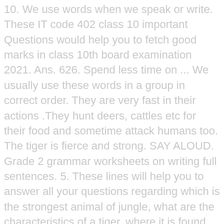10. We use words when we speak or write. These IT code 402 class 10 important Questions would help you to fetch good marks in class 10th board examination 2021. Ans. 626. Spend less time on ... We usually use these words in a group in correct order. They are very fast in their actions .They hunt deers, cattles etc for their food and sometime attack humans too. The tiger is fierce and strong. SAY ALOUD. Grade 2 grammar worksheets on writing full sentences. 5. These lines will help you to answer all your questions regarding which is the strongest animal of jungle, what are the characteristics of a tiger, where it is found, what a tiger eats, what a baby tiger is called, what is female tiger called, what is the lifespan of tigers, are stripes on tigers unique, can tigers swim, can they climb trees, what is the maximum speed of tigers, how many tigers are left in world, what is tiger conservation, what are the species of tigers etc. Tick the right answer. NCERT Solutions for Class 3 English Little Tiger Big Tiger. It has a strong body and it is equally powerful like a Lion. Its four teeth, two in the upper jaw and two in the lower jaw are sharper and stronger than